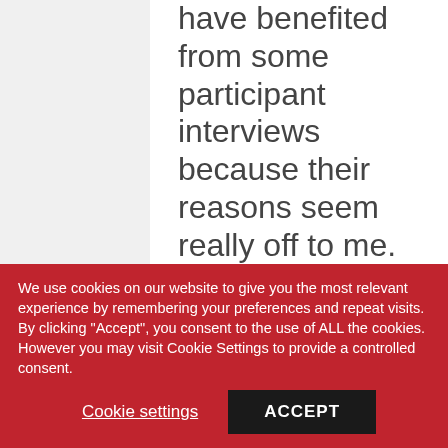have benefited from some participant interviews because their reasons seem really off to me.
Post a
We use cookies on our website to give you the most relevant experience by remembering your preferences and repeat visits. By clicking "Accept", you consent to the use of ALL the cookies. However you may visit Cookie Settings to provide a controlled consent.
Cookie settings
ACCEPT